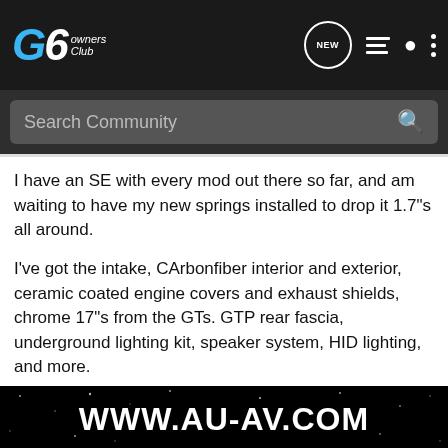G6 Owners Club
Search Community
I have an SE with every mod out there so far, and am waiting to have my new springs installed to drop it 1.7"s all around.
I've got the intake, CArbonfiber interior and exterior, ceramic coated engine covers and exhaust shields, chrome 17"s from the GTs. GTP rear fascia, underground lighting kit, speaker system, HID lighting, and more.
Here's how you get the resonator off. Step 1. Let the car cool down. Step 2. Plug in reciprocating saw. Step 3. Apply saw to exhaust and repeat as needed. Aside from that you have to unbolt the exhaust after the cats and un hang the muffler then cut the muffler off and pull the whole exhaust out. Not the easiest way, since th
[Figure (other): Watermark overlay with text WWW.AU-AV.COM on dark background with stars]